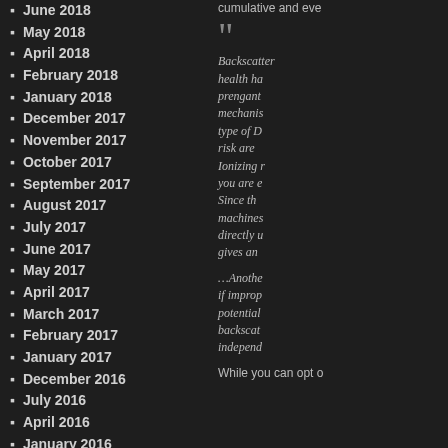June 2018
May 2018
April 2018
February 2018
January 2018
December 2017
November 2017
October 2017
September 2017
August 2017
July 2017
June 2017
May 2017
April 2017
March 2017
February 2017
January 2017
December 2016
July 2016
April 2016
January 2016
October 2015
September 2015
cumulative and eve
Backscatter health ha prengant mechanis type of D risk are Ionizing r you are e Since th machines directly u gives an
…Anothe if improp potential backscat independ
While you can opt o